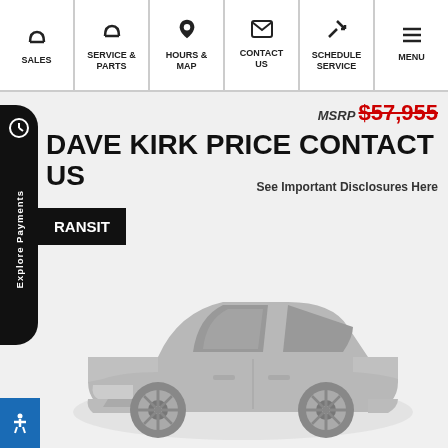SALES | SERVICE & PARTS | HOURS & MAP | CONTACT US | SCHEDULE SERVICE | MENU
MSRP $57,955
DAVE KIRK PRICE CONTACT US
See Important Disclosures Here
TRANSIT
[Figure (illustration): Gray silhouette illustration of a sedan car on a light gray background]